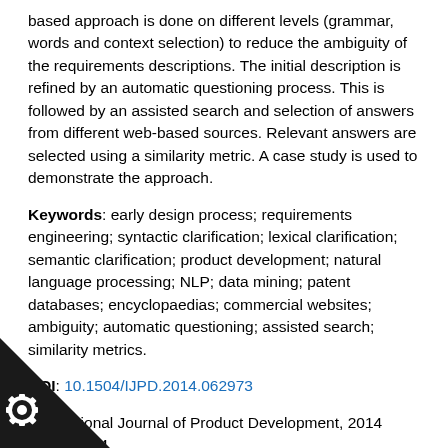based approach is done on different levels (grammar, words and context selection) to reduce the ambiguity of the requirements descriptions. The initial description is refined by an automatic questioning process. This is followed by an assisted search and selection of answers from different web-based sources. Relevant answers are selected using a similarity metric. A case study is used to demonstrate the approach.
Keywords: early design process; requirements engineering; syntactic clarification; lexical clarification; semantic clarification; product development; natural language processing; NLP; data mining; patent databases; encyclopaedias; commercial websites; ambiguity; automatic questioning; assisted search; similarity metrics.
DOI: 10.1504/IJPD.2014.062973
International Journal of Product Development, 2014 Vol.19 No.4, pp.173 - 190
Received: 08 Sep 2012
Accepted: 06 Feb 2013